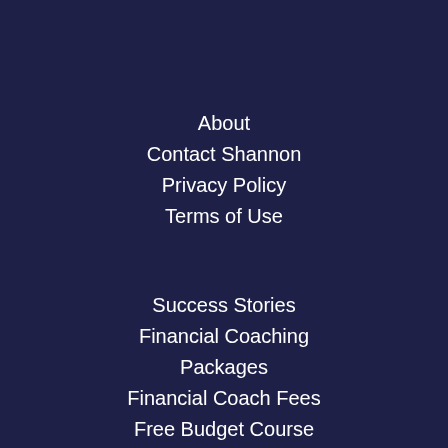About
Contact Shannon
Privacy Policy
Terms of Use
Success Stories
Financial Coaching Packages
Financial Coach Fees
Free Budget Course
Client Login
Affiliates